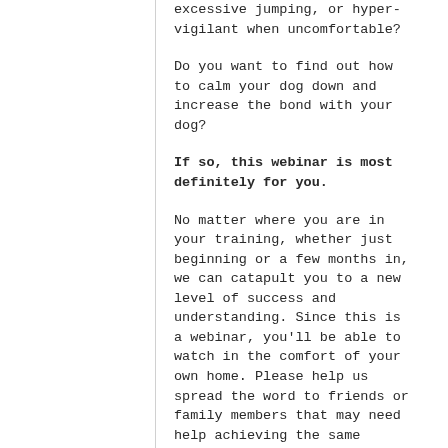excessive jumping, or hyper-vigilant when uncomfortable?
Do you want to find out how to calm your dog down and increase the bond with your dog?
If so, this webinar is most definitely for you.
No matter where you are in your training, whether just beginning or a few months in, we can catapult you to a new level of success and understanding. Since this is a webinar, you'll be able to watch in the comfort of your own home. Please help us spread the word to friends or family members that may need help achieving the same success with their dog.